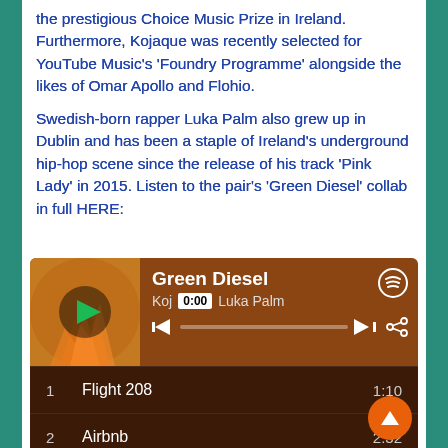the prestigious Choice Music Prize in Ireland. Furthermore, Kojaque was recently selected for YouTube Music's 'Foundry Programme' alongside the likes of Omar Apollo and Flohio.
Swedish-born rapper Luka Palm also grew up in Dublin and has been a staple of Ireland's underground hip-hop scene since the release of his track 'Pink Lady' in 2015. Listen to the pair's 'Green Diesel' collab in full HERE:
[Figure (screenshot): Spotify embedded player showing the track 'Green Diesel' by Kojaque and Luka Palm, with a tracklist including: 1. Flight 208 (1:10), 2. Airbnb (2:32), 3. Date Night (3:43), 4. Paris, Texas (3:22), 5. Fruity Pebbles (Interlude) (1:33)]